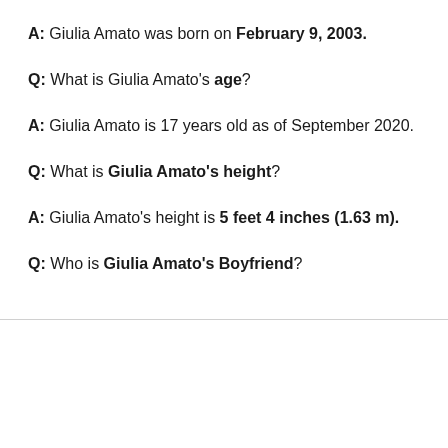A: Giulia Amato was born on February 9, 2003.
Q: What is Giulia Amato's age?
A: Giulia Amato is 17 years old as of September 2020.
Q: What is Giulia Amato's height?
A: Giulia Amato's height is 5 feet 4 inches (1.63 m).
Q: Who is Giulia Amato's Boyfriend?